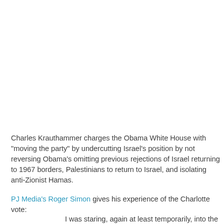Charles Krauthammer charges the Obama White House with "moving the party" by undercutting Israel's position by not reversing Obama's omitting previous rejections of Israel returning to 1967 borders, Palestinians to return to Israel, and isolating anti-Zionist Hamas.
PJ Media's Roger Simon gives his experience of the Charlotte vote:
I was staring, again at least temporarily, into the